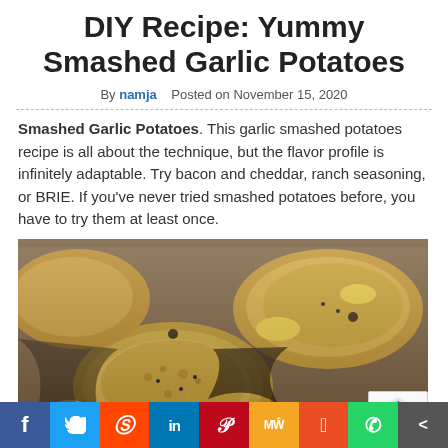DIY Recipe: Yummy Smashed Garlic Potatoes
By namja   Posted on November 15, 2020
Smashed Garlic Potatoes. This garlic smashed potatoes recipe is all about the technique, but the flavor profile is infinitely adaptable. Try bacon and cheddar, ranch seasoning, or BRIE. If you've never tried smashed potatoes before, you have to try them at least once.
[Figure (photo): Close-up photo of smashed garlic potatoes with golden-brown crispy tops dusted with breadcrumbs on a baking sheet]
[Figure (infographic): Social media share bar with Facebook, Twitter, Reddit, LinkedIn, Pinterest, MeWe, Mix, WhatsApp, and share buttons]